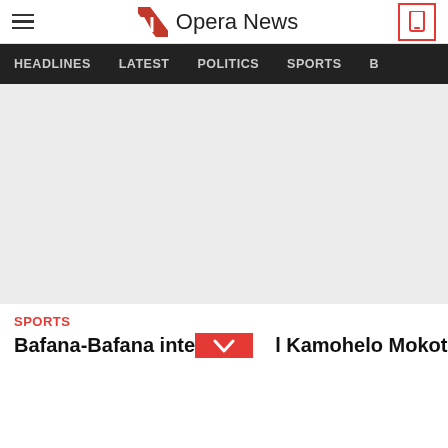Opera News
HEADLINES  LATEST  POLITICS  SPORTS  B
[Figure (photo): Large gray placeholder image area for article photo]
SPORTS
Bafana-Bafana international Kamohelo Mokotio